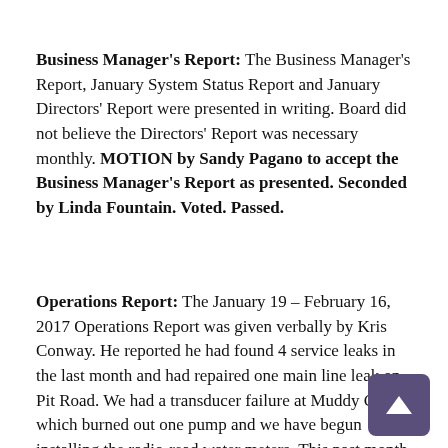Business Manager's Report: The Business Manager's Report, January System Status Report and January Directors' Report were presented in writing. Board did not believe the Directors' Report was necessary monthly. MOTION by Sandy Pagano to accept the Business Manager's Report as presented. Seconded by Linda Fountain. Voted. Passed.
Operations Report: The January 19 – February 16, 2017 Operations Report was given verbally by Kris Conway. He reported he had found 4 service leaks in the last month and had repaired one main line leak on Pit Road. We had a transducer failure at Muddy Gulch which burned out one pump and we have begun installing the radio-read water meters. This past month Kris Conway has attended a flagging class and received his certificate and he has attended